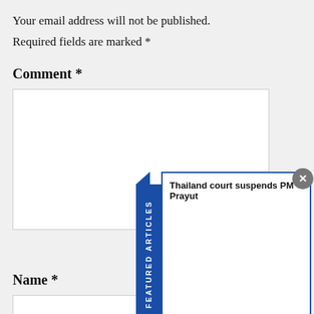Your email address will not be published.
Required fields are marked *
Comment *
[Figure (screenshot): Comment text area input field (empty)]
[Figure (infographic): Featured Articles sidebar popup with title 'Thailand court suspends PM Prayut' and a close button]
Name *
[Figure (screenshot): Name text input field (empty)]